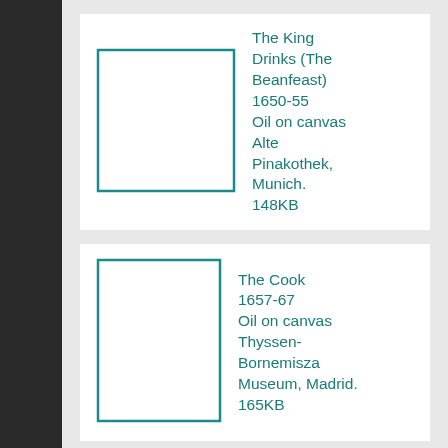[Figure (illustration): Placeholder rectangle outline for artwork image]
The King Drinks (The Beanfeast) 1650-55 Oil on canvas Alte Pinakothek, Munich. 148KB
[Figure (illustration): Placeholder rectangle outline for artwork image]
The Cook 1657-67 Oil on canvas Thyssen-Bornemisza Museum, Madrid. 165KB
[Figure (illustration): Placeholder rectangle outline for artwork image]
The Sick Girl 1650-52